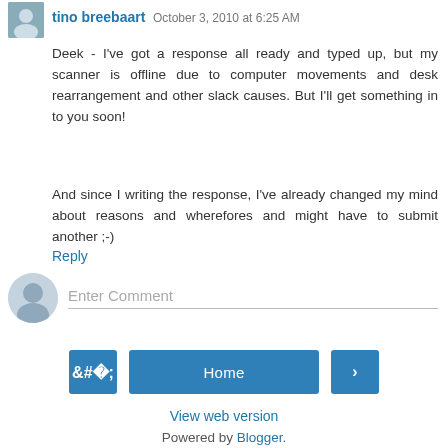tino breebaart October 3, 2010 at 6:25 AM
Deek - I've got a response all ready and typed up, but my scanner is offline due to computer movements and desk rearrangement and other slack causes. But I'll get something in to you soon!
And since I writing the response, I've already changed my mind about reasons and wherefores and might have to submit another ;-)
Reply
Enter Comment
Home
View web version
Powered by Blogger.